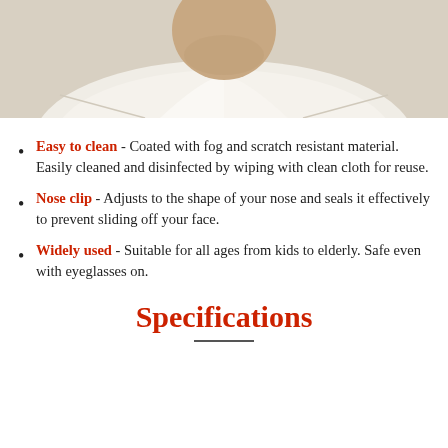[Figure (photo): Photo of a person wearing a white shirt, showing neck and collar area, cropped at the top of the page]
Easy to clean - Coated with fog and scratch resistant material. Easily cleaned and disinfected by wiping with clean cloth for reuse.
Nose clip - Adjusts to the shape of your nose and seals it effectively to prevent sliding off your face.
Widely used - Suitable for all ages from kids to elderly. Safe even with eyeglasses on.
Specifications